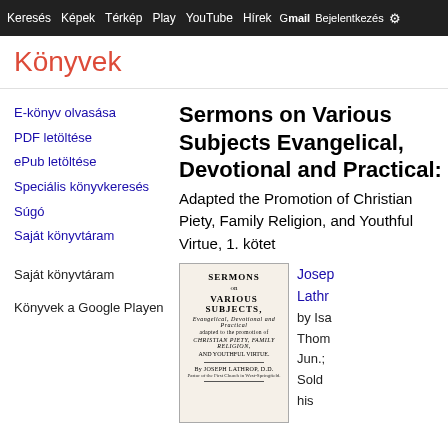Keresés  Képek  Térkép  Play  YouTube  Hírek  Gmails  Bejelentkezés  Egyéb
Könyvek
E-könyv olvasása
PDF letöltése
ePub letöltése
Speciális könyvkeresés
Súgó
Saját könyvtáram
Saját könyvtáram
Könyvek a Google Playen
Sermons on Various Subjects Evangelical, Devotional and Practical: Adapted the Promotion of Christian Piety, Family Religion, and Youthful Virtue, 1. kötet
[Figure (illustration): Scanned title page of old book: SERMONS on VARIOUS SUBJECTS, EVANGELICAL, DEVOTIONAL and PRACTICAL, adapted to the promotion of CHRISTIAN PIETY, FAMILY RELIGION, AND YOUTHFUL VIRTUE. By JOSEPH LATHROP, D.D., Pastor of the First Church in West-Springfield.]
Joseph Lathrop by Isaac Thomas; Jun.; Sold his